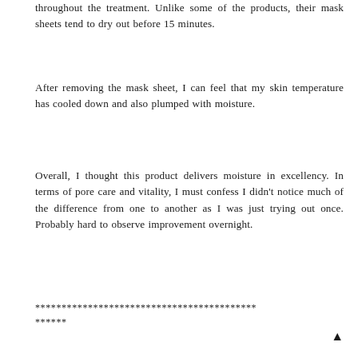throughout the treatment. Unlike some of the products, their mask sheets tend to dry out before 15 minutes.
After removing the mask sheet, I can feel that my skin temperature has cooled down and also plumped with moisture.
Overall, I thought this product delivers moisture in excellency. In terms of pore care and vitality, I must confess I didn't notice much of the difference from one to another as I was just trying out once. Probably hard to observe improvement overnight.
************************************************** ******